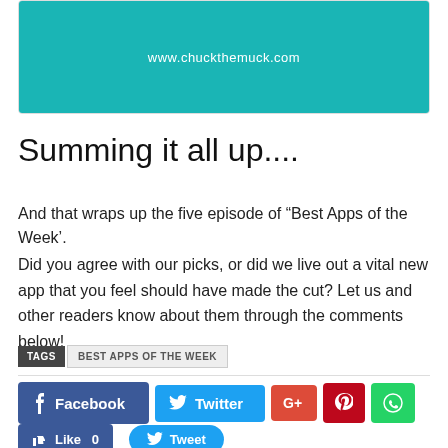[Figure (screenshot): App promotional banner with teal background showing www.chuckthemuck.com URL]
Summing it all up....
And that wraps up the five episode of “Best Apps of the Week’.
Did you agree with our picks, or did we live out a vital new app that you feel should have made the cut? Let us and other readers know about them through the comments below!
TAGS  BEST APPS OF THE WEEK
[Figure (other): Social sharing buttons: Facebook, Twitter, Google+, Pinterest, WhatsApp, Like 0, Tweet]